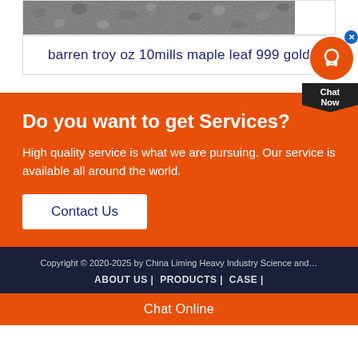[Figure (photo): Gravel/aggregate material texture, grayscale photo shown as a horizontal strip]
barren troy oz 10mills maple leaf 999 gold
Do you want to get Services?
High quality service is what we are pursuing. Our service is available all around the world.
Contact Us
Copyright © 2020-2025 by China Liming Heavy Industry Science and…
ABOUT US | PRODUCTS | CASE |
Chat Online